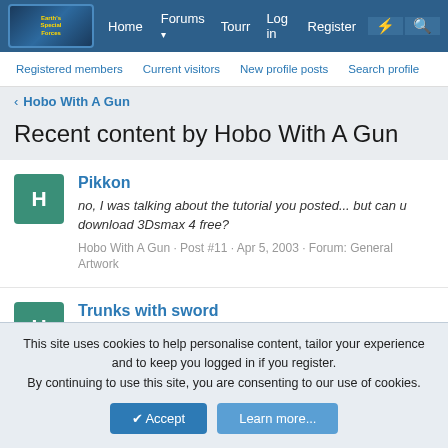[Figure (logo): Forum logo for Earth's Special Forces with anime character graphic]
Home  Forums  Tourr  Log in  Register
Registered members  Current visitors  New profile posts  Search profile
< Hobo With A Gun
Recent content by Hobo With A Gun
Pikkon
no, I was talking about the tutorial you posted... but can u download 3Dsmax 4 free?
Hobo With A Gun · Post #11 · Apr 5, 2003 · Forum: General Artwork
Trunks with sword
It is very blunt looking and is also kind of rounded
Hobo With A Gun · Post #2 · Mar 20, 2003 · Forum: General
This site uses cookies to help personalise content, tailor your experience and to keep you logged in if you register.
By continuing to use this site, you are consenting to our use of cookies.